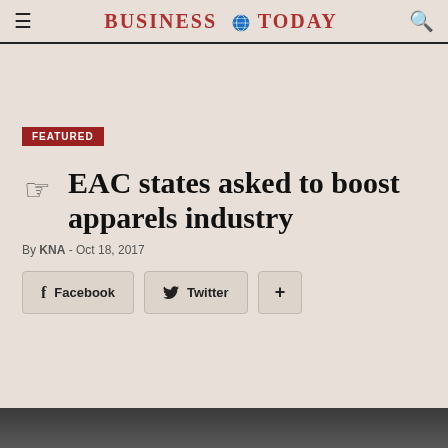BUSINESS TODAY
FEATURED
EAC states asked to boost apparels industry
By KNA - Oct 18, 2017
Facebook  Twitter  +